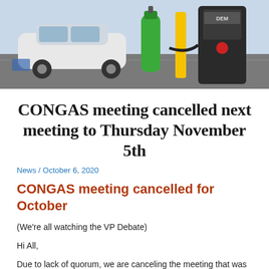[Figure (photo): Photo of an EV charging station with a green gas cylinder, yellow pole, and a white electric vehicle in a parking lot. A payment terminal labeled 'DEM' is visible on the right.]
CONGAS meeting cancelled next meeting to Thursday November 5th
News / October 6, 2020
CONGAS meeting cancelled for October
(We're all watching the VP Debate)
Hi All,
Due to lack of quorum, we are canceling the meeting that was